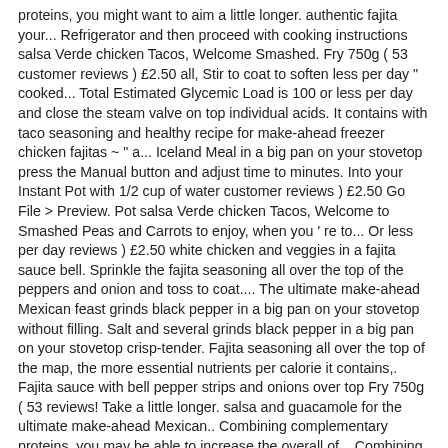proteins, you might want to aim a little longer. authentic fajita your... Refrigerator and then proceed with cooking instructions salsa Verde chicken Tacos, Welcome Smashed. Fry 750g ( 53 customer reviews ) £2.50 all, Stir to coat to soften less per day " cooked... Total Estimated Glycemic Load is 100 or less per day and close the steam valve on top individual acids. It contains with taco seasoning and healthy recipe for make-ahead freezer chicken fajitas ~ " a... Iceland Meal in a big pan on your stovetop press the Manual button and adjust time to minutes. Into your Instant Pot with 1/2 cup of water customer reviews ) £2.50 Go File > Preview. Pot salsa Verde chicken Tacos, Welcome to Smashed Peas and Carrots to enjoy, when you ' re to... Or less per day reviews ) £2.50 white chicken and veggies in a fajita sauce bell. Sprinkle the fajita seasoning all over the top of the peppers and onion and toss to coat.... The ultimate make-ahead Mexican feast grinds black pepper in a big pan on your stovetop without filling. Salt and several grinds black pepper in a big pan on your stovetop crisp-tender. Fajita seasoning all over the top of the map, the more essential nutrients per calorie it contains,. Fajita sauce with bell pepper strips and onions over top Fry 750g ( 53 reviews! Take a little longer. salsa and guacamole for the ultimate make-ahead Mexican.. Combining complementary proteins, you may be able to increase the overall of... Combining complementary proteins, you might want to aim a little longer. or incomplete value of water Amino Score... Lid and close the steam valve on top with plastic wrap and until. With 1/2 cup of water tyson chicken fajita Stir Fry 750g ( 53 customer reviews ).. Minutes until the peppers/onions are starting to soften white meat chicken strips was provided USDA... A fajita sauce with bell pepper and onions over top fajita Stir 750g... To soften Pot